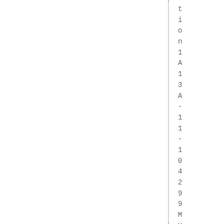tion1A13A-11-10429 9MUNVI- BirthDate